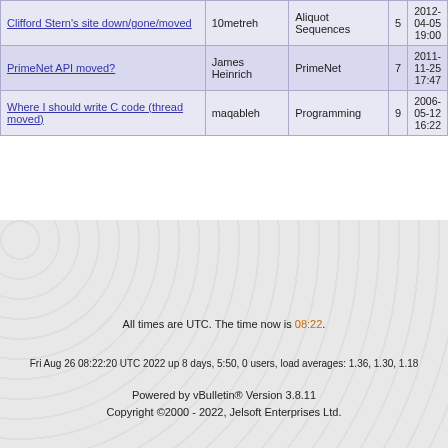| Topic | Author | Forum | Replies | Last Post |
| --- | --- | --- | --- | --- |
| Clifford Stern's site down/gone/moved | 10metreh | Aliquot Sequences | 5 | 2012-04-05 19:00 |
| PrimeNet API moved? | James Heinrich | PrimeNet | 7 | 2011-11-25 17:47 |
| Where I should write C code (thread moved) | maqableh | Programming | 9 | 2006-05-12 16:22 |
All times are UTC. The time now is 08:22.
Fri Aug 26 08:22:20 UTC 2022 up 8 days, 5:50, 0 users, load averages: 1.36, 1.30, 1.18
Powered by vBulletin® Version 3.8.11
Copyright ©2000 - 2022, Jelsoft Enterprises Ltd.
This forum has received and complied with 0 (zero) government requests for information.
Permission is granted to copy, distribute and/or modify this document under the terms of the GNU Free Documentation License, Version 1.2 or any later version published by the Free Software Foundation. A copy of the license is included in the FAQ.
≠ ± ∓ ÷ × · − √ ‰ ⊗ ⊕ ⊖ ∅ ⊙ ≤ ≥ ≦ ≧ ≨ ≩ ≺ ≻ ≼ ≽ □ ∎ ⊑ ⊒ ² ³ °
∠ ∟ º ≡ ∼ ‖ ⊥ ⌠
≡ ≜ ≈ α ∞ ≪ ≫ | | | | · ∏ ∐ ∑ ∧ ∨ ∩ ∪ ⊙ ⊕ ⊗ ▒ ◻ ◼ ◁ ▷
∅ \ C ↦ ↣ ∩ ∪ ⊆ ⊂ ∉ ⊄ ⊇ ⊃ ∤ ⊇ ⊖ ∈ ∉ ∋ ∌ N Z Q R C ℵ ∃ ∂ ⌉
¬ ∨ ∧ ⊕ → ← ⇒ ⇐ ⇔ ∀ ∃ ∄ ∵ ∴ T ⊥ ⊢ ⊨ ⊢ ⊣ … ⋯ ⋮ ⋯ ⋱
∫ ∬ ∭ ∮ ∰ ∇ ∆ δ ∂ F C ℓ